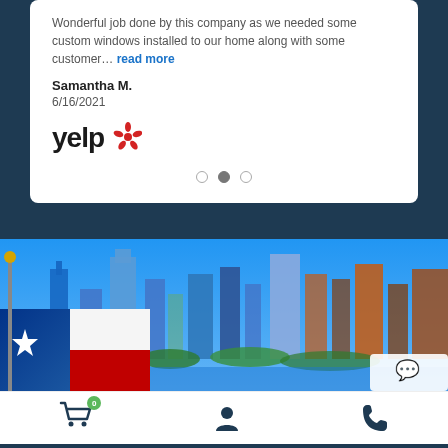Wonderful job done by this company as we needed some custom windows installed to our home along with some customer… read more
Samantha M.
6/16/2021
[Figure (logo): Yelp logo with red burst icon]
[Figure (photo): Austin Texas city skyline with Texas flag in foreground against blue sky]
[Figure (infographic): Bottom navigation bar with shopping cart (badge 0), user profile icon, and phone icon]